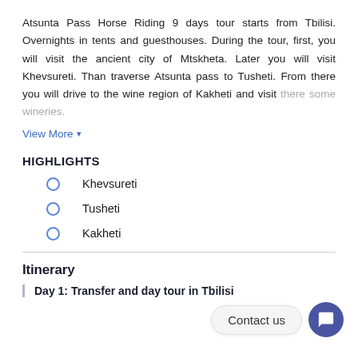Atsunta Pass Horse Riding 9 days tour starts from Tbilisi. Overnights in tents and guesthouses. During the tour, first, you will visit the ancient city of Mtskheta. Later you will visit Khevsureti. Than traverse Atsunta pass to Tusheti. From there you will drive to the wine region of Kakheti and visit there some wineries.
View More ▾
HIGHLIGHTS
Khevsureti
Tusheti
Kakheti
Itinerary
Day 1: Transfer and day tour in Tbilisi